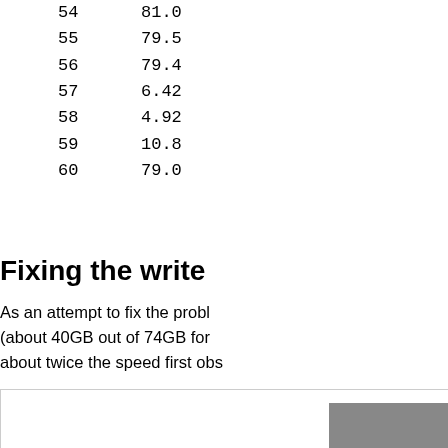| 54 | 81.0 |
| 55 | 79.5 |
| 56 | 79.4 |
| 57 | 6.42 |
| 58 | 4.92 |
| 59 | 10.8 |
| 60 | 79.0 |
Fixing the write
As an attempt to fix the prob... (about 40GB out of 74GB for... about twice the speed first obs...
More significant, it suggested... would be to erase the entire d... allowing the internal fragmen... allowing the X25-M to perfor...
Doing so (again with DiskTes... average write speed to 46MB... between writes, as seen in the...
[Figure (screenshot): Bottom portion of a figure/screenshot showing a dark graphical element in the lower right corner.]